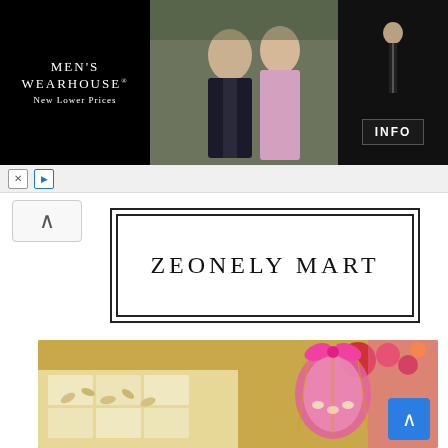[Figure (photo): Men's Wearhouse advertisement banner showing a couple in formalwear and a man in a tuxedo with an INFO button, black background]
[Figure (logo): ZEONELY MART logo in a double-bordered rectangular box]
[Figure (photo): Product photo showing Indian sweets (barfi/mithai) with almonds and a pink organza gift bag with gold accents]